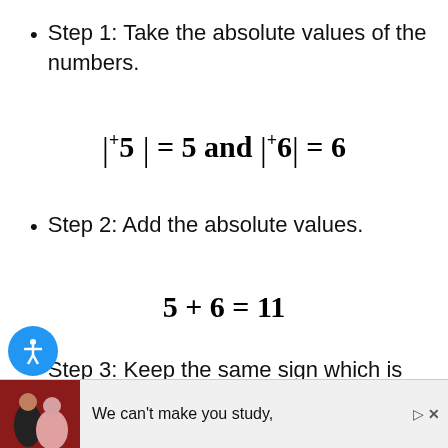Step 1: Take the absolute values of the numbers.
Step 2: Add the absolute values.
Step 3: Keep the same sign which is positive.
We can't make you study,